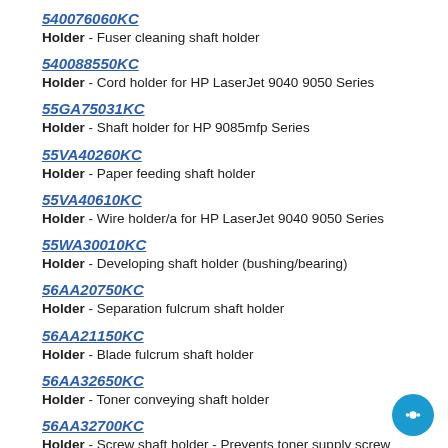540076060KC
Holder - Fuser cleaning shaft holder
540088550KC
Holder - Cord holder for HP LaserJet 9040 9050 Series
55GA75031KC
Holder - Shaft holder for HP 9085mfp Series
55VA40260KC
Holder - Paper feeding shaft holder
55VA40610KC
Holder - Wire holder/a for HP LaserJet 9040 9050 Series
55WA30010KC
Holder - Developing shaft holder (bushing/bearing)
56AA20750KC
Holder - Separation fulcrum shaft holder
56AA21150KC
Holder - Blade fulcrum shaft holder
56AA32650KC
Holder - Toner conveying shaft holder
56AA32700KC
Holder - Screw shaft holder - Prevents toner supply screw from losing position